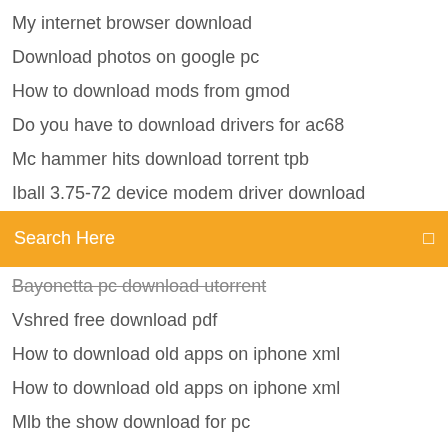My internet browser download
Download photos on google pc
How to download mods from gmod
Do you have to download drivers for ac68
Mc hammer hits download torrent tpb
Iball 3.75-72 device modem driver download
Search Here
Bayonetta pc download utorrent
Vshred free download pdf
How to download old apps on iphone xml
How to download old apps on iphone xml
Mlb the show download for pc
Pro e old version download
Kenshi download free no torrent
Ndtv cricket app download
Exploring spoken english ronald carter pdf download
Download file windows 7 ultimate 32 bit iso
Download google earth latest version 2018